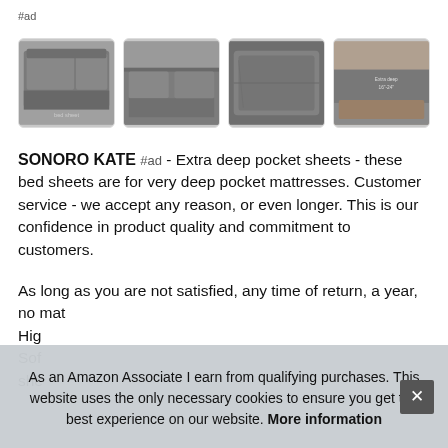#ad
[Figure (photo): Four thumbnail images of gray bed sheets: a bed with duvet, a flat lay of sheets, a close-up of a pillow, and a fitted sheet on a mattress corner.]
SONORO KATE #ad - Extra deep pocket sheets - these bed sheets are for very deep pocket mattresses. Customer service - we accept any reason, or even longer. This is our confidence in product quality and commitment to customers.
As long as you are not satisfied, any time of return, a year, no mat... High... Soft... she...
As an Amazon Associate I earn from qualifying purchases. This website uses the only necessary cookies to ensure you get the best experience on our website. More information